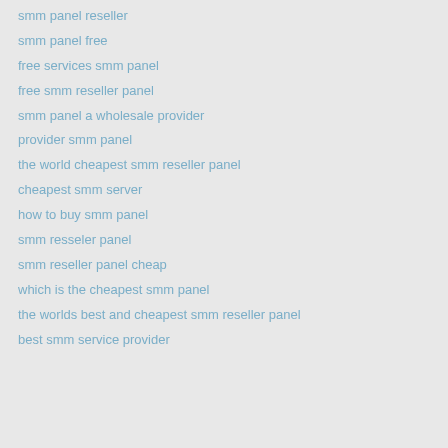smm panel reseller
smm panel free
free services smm panel
free smm reseller panel
smm panel a wholesale provider
provider smm panel
the world cheapest smm reseller panel
cheapest smm server
how to buy smm panel
smm resseler panel
smm reseller panel cheap
which is the cheapest smm panel
the worlds best and cheapest smm reseller panel
best smm service provider